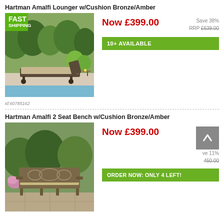Hartman Amalfi Lounger w/Cushion Bronze/Amber
[Figure (photo): Outdoor chaise lounger with cushion by a pool with green background, with FAST SHIPPING badge]
Now £399.00
Save 38%
RRP £639.00
10+ AVAILABLE
id:60785162
Hartman Amalfi 2 Seat Bench w/Cushion Bronze/Amber
[Figure (photo): Ornate cast metal 2-seat garden bench with cushion on stone patio]
Now £399.00
Save 11%
RRP £450.00
ORDER NOW: ONLY 4 LEFT!